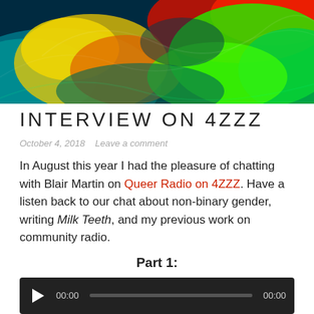[Figure (photo): Colorful abstract swirling paint art with vivid greens, reds, yellows, and teals forming the page header banner image.]
INTERVIEW ON 4ZZZ
October 4, 2018   Leave a comment
In August this year I had the pleasure of chatting with Blair Martin on Queer Radio on 4ZZZ. Have a listen back to our chat about non-binary gender, writing Milk Teeth, and my previous work on community radio.
Part 1:
[Figure (other): Audio player widget with dark background, play button triangle, time display 00:00, progress bar, and end time 00:00.]